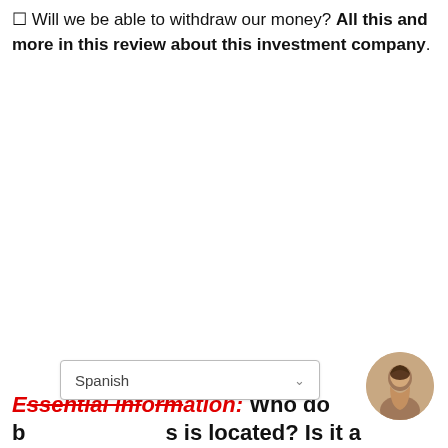⬜ Will we be able to withdraw our money? All this and more in this review about this investment company.
Essential information: Who does this company is located? Is it a